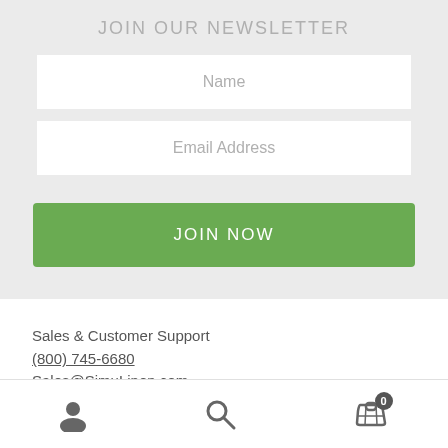JOIN OUR NEWSLETTER
Name
Email Address
JOIN NOW
Sales & Customer Support
(800) 745-6680
Sales@SimuLinen.com